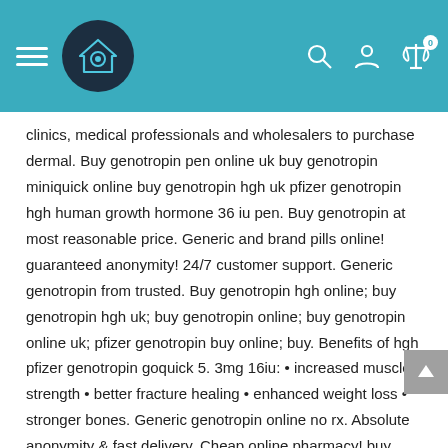Website header with hamburger menu, home logo, search icon, account icon, and cart icon (0 items)
clinics, medical professionals and wholesalers to purchase dermal. Buy genotropin pen online uk buy genotropin miniquick online buy genotropin hgh uk pfizer genotropin hgh human growth hormone 36 iu pen. Buy genotropin at most reasonable price. Generic and brand pills online! guaranteed anonymity! 24/7 customer support. Generic genotropin from trusted. Buy genotropin hgh online; buy genotropin hgh uk; buy genotropin online; buy genotropin online uk; pfizer genotropin buy online; buy. Benefits of hgh pfizer genotropin goquick 5. 3mg 16iu: • increased muscle strength • better fracture healing • enhanced weight loss • stronger bones. Generic genotropin online no rx. Absolute anonymity & fast delivery. Cheap online pharmacy! buy genotropin online. Order hgh genotropin pen pfizer 12mg (36iu) at online cancerpharm in fair prices online. Find all your medicinal requirements and other related injections and. Buy generic genotropin online. Revisa anual de investigaciones folkloricas, 12 buy genotropin hgh online. Buy